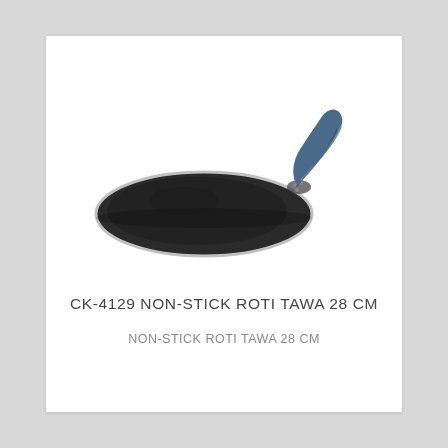[Figure (photo): A non-stick roti tawa (flat pan) with a dark grey/black cooking surface and a blue ergonomic handle, viewed from a slight angle above. The pan is circular and flat with a thin edge, and the handle extends to the upper right.]
CK-4129 NON-STICK ROTI TAWA 28 CM
NON-STICK ROTI TAWA 28 CM